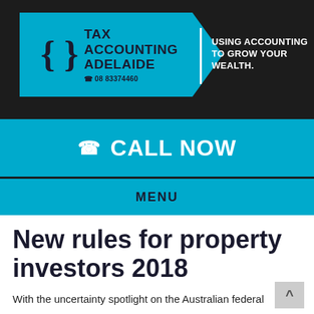[Figure (logo): Tax Accounting Adelaide logo: cyan/blue parallelogram shape with brace symbol, company name in dark text, phone number 08 83374460. White text to the right: USING ACCOUNTING TO GROW YOUR WEALTH.]
CALL NOW
MENU
New rules for property investors 2018
With the uncertainty spotlight on the Australian federal